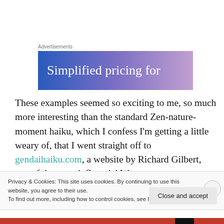Advertisements
[Figure (illustration): Advertisement banner with gradient background (blue to purple/pink) showing text 'Simplified pricing for']
These examples seemed so exciting to me, so much more interesting than the standard Zen-nature-moment haiku, which I confess I’m getting a little weary of, that I went straight off to gendaihaiku.com, a website by Richard Gilbert, one of the most influential Western
Privacy & Cookies: This site uses cookies. By continuing to use this website, you agree to their use.
To find out more, including how to control cookies, see here: Cookie Policy
Close and accept